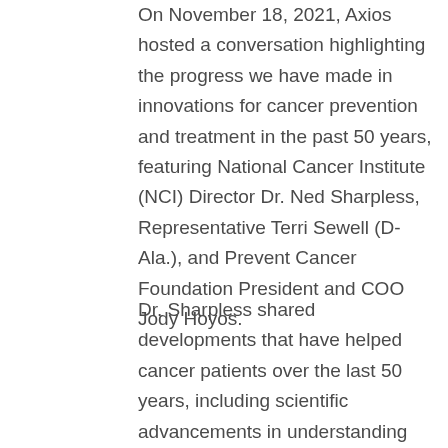On November 18, 2021, Axios hosted a conversation highlighting the progress we have made in innovations for cancer prevention and treatment in the past 50 years, featuring National Cancer Institute (NCI) Director Dr. Ned Sharpless, Representative Terri Sewell (D-Ala.), and Prevent Cancer Foundation President and COO Jody Hoyos.
Dr. Sharpless shared developments that have helped cancer patients over the last 50 years, including scientific advancements in understanding the molecular biology of cancer cells, cancer databases which provide a unified repository and knowledge base that enables data sharing, and cancer screenings to detect cancers early. Despite these